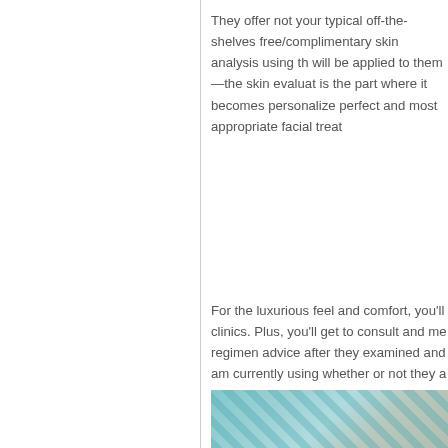They offer not your typical off-the-shelves free/complimentary skin analysis using th will be applied to them—the skin evaluat is the part where it becomes personalize perfect and most appropriate facial treat
For the luxurious feel and comfort, you'll clinics. Plus, you'll get to consult and me regimen advice after they examined and am currently using whether or not they a my skin problems. That is a major takeav
[Figure (photo): Partial view of a photo showing teal/turquoise geometric or fabric pattern alongside a skin-toned element, likely a spa or skincare clinic setting]